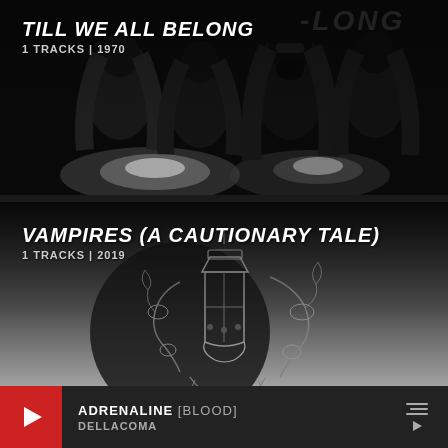[Figure (photo): Album card for 'Till We All Belong' — black and white photo of a rock band (4 members with long hair) on dark background. Album title 'TILL WE ALL BELONG' in bold italic white text, subtitle '1 TRACKS | 1970' below.]
[Figure (photo): Album card for 'Vampires (A Cautionary Tale)' — decorative illustration of a lantern with ornamental flowers/vines on dark gradient background. Album title 'VAMPIRES (A CAUTIONARY TALE)' in bold italic white text, subtitle '1 TRACKS | 2019' below.]
CATEGORIES
ADRENALINE [BLOOD] DELLACOMA